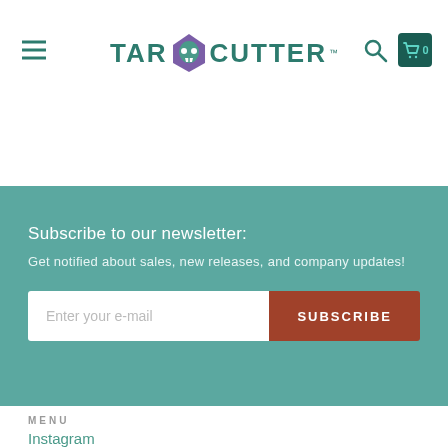TAR CUTTER
Subscribe to our newsletter:
Get notified about sales, new releases, and company updates!
Enter your e-mail   SUBSCRIBE
MENU
Instagram
Facebook